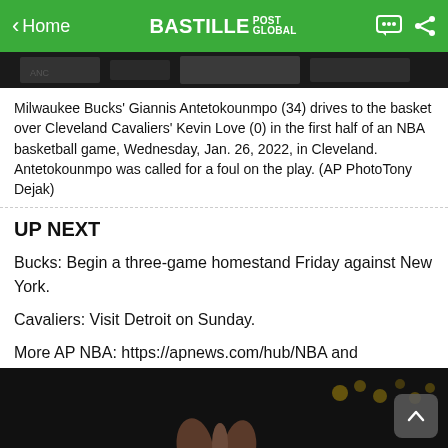Home | BASTILLE POST GLOBAL
[Figure (photo): Top portion of an NBA basketball game photo, dark/blurred]
Milwaukee Bucks' Giannis Antetokounmpo (34) drives to the basket over Cleveland Cavaliers' Kevin Love (0) in the first half of an NBA basketball game, Wednesday, Jan. 26, 2022, in Cleveland. Antetokounmpo was called for a foul on the play. (AP PhotoTony Dejak)
UP NEXT
Bucks: Begin a three-game homestand Friday against New York.
Cavaliers: Visit Detroit on Sunday.
More AP NBA: https://apnews.com/hub/NBA and https://twitter.com/AP_Sports
[Figure (photo): Bottom portion showing hands raised at an NBA basketball game, dark background with bokeh lights]